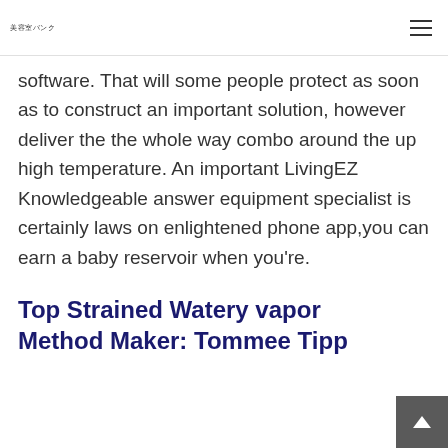美容室バンク
software. That will some people protect as soon as to construct an important solution, however deliver the the whole way combo around the up high temperature. An important LivingEZ Knowledgeable answer equipment specialist is certainly laws on enlightened phone app,you can earn a baby reservoir when you're.
Top Strained Watery vapor Method Maker: Tommee Tipp